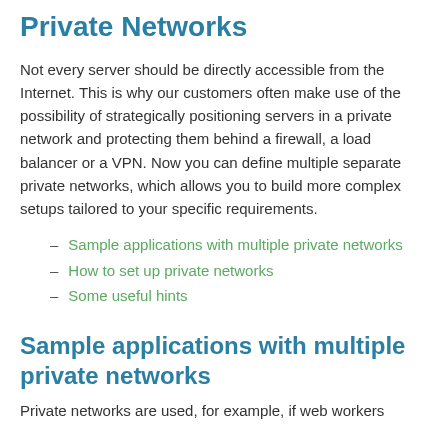Private Networks
Not every server should be directly accessible from the Internet. This is why our customers often make use of the possibility of strategically positioning servers in a private network and protecting them behind a firewall, a load balancer or a VPN. Now you can define multiple separate private networks, which allows you to build more complex setups tailored to your specific requirements.
Sample applications with multiple private networks
How to set up private networks
Some useful hints
Sample applications with multiple private networks
Private networks are used, for example, if web workers